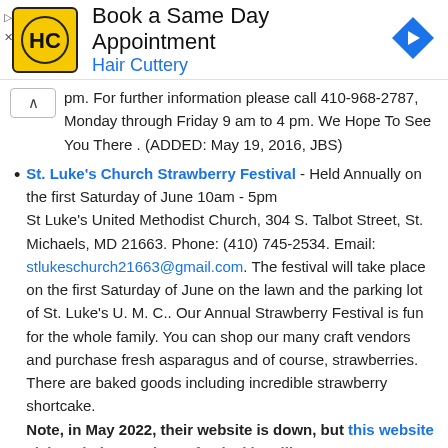[Figure (logo): Hair Cuttery advertisement banner with HC logo in yellow square, text 'Book a Same Day Appointment' and 'Hair Cuttery', and a blue navigation arrow icon]
pm. For further information please call 410-968-2787, Monday through Friday 9 am to 4 pm. We Hope To See You There . (ADDED: May 19, 2016, JBS)
St. Luke's Church Strawberry Festival - Held Annually on the first Saturday of June 10am - 5pm St Luke's United Methodist Church, 304 S. Talbot Street, St. Michaels, MD 21663. Phone: (410) 745-2534. Email: stlukeschurch21663@gmail.com. The festival will take place on the first Saturday of June on the lawn and the parking lot of St. Luke's U. M. C.. Our Annual Strawberry Festival is fun for the whole family. You can shop our many craft vendors and purchase fresh asparagus and of course, strawberries. There are baked goods including incredible strawberry shortcake. Note, in May 2022, their website is down, but this website claims their starwberry festival is still on.
Chaptico Christ Church Strawberry Festival - Sunday, May 21, 2022 from 1:30pm to 5 pm: 25th Annual